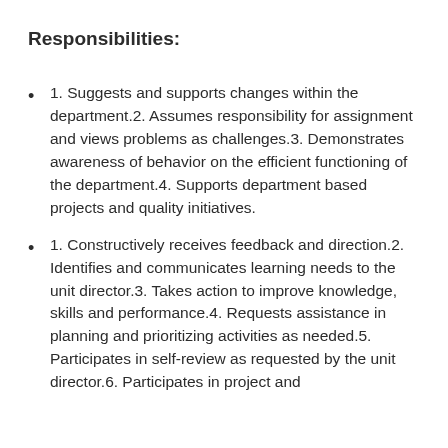Responsibilities:
1. Suggests and supports changes within the department.2. Assumes responsibility for assignment and views problems as challenges.3. Demonstrates awareness of behavior on the efficient functioning of the department.4. Supports department based projects and quality initiatives.
1. Constructively receives feedback and direction.2. Identifies and communicates learning needs to the unit director.3. Takes action to improve knowledge, skills and performance.4. Requests assistance in planning and prioritizing activities as needed.5. Participates in self-review as requested by the unit director.6. Participates in project and